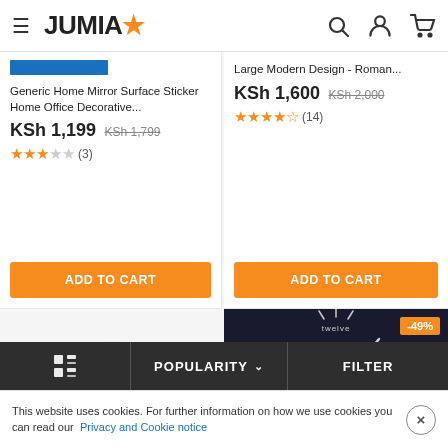JUMIA
Generic Home Mirror Surface Sticker Home Office Decorative...
KSh 1,199  KSh 1,799
★★★☆☆ (3)
ADD TO CART
Large Modern Design - Roman...
KSh 1,600  KSh 2,000
★★★★½ (14)
ADD TO CART
[Figure (photo): Large modern wall clock with dark background showing clock hands and Roman numeral indicators for twelve, nine, three, six. Discount badge -49% in top right corner.]
POPULARITY ∨
FILTER
This website uses cookies. For further information on how we use cookies you can read our Privacy and Cookie notice